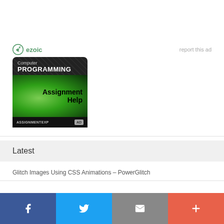[Figure (other): Ezoic logo with green circular arrow icon and text 'ezoic', alongside 'report this ad' link]
[Figure (other): Advertisement image for AssignmentExpert.com showing 'Computer PROGRAMMING Assignment Help' on dark and green background]
Latest
Glitch Images Using CSS Animations – PowerGlitch
[Figure (other): Social share bar with Facebook, Twitter, Email, and More buttons]